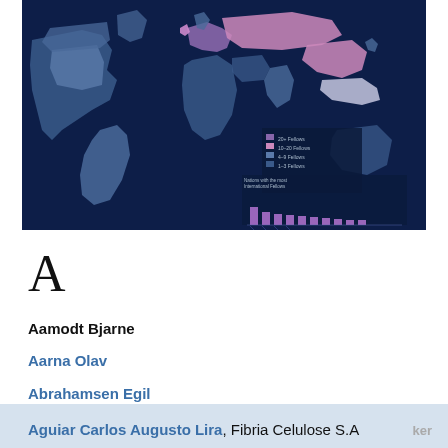[Figure (map): World map with countries shaded in blue, purple, and pink tones indicating different ranges of Fellows (20+ Fellows, 10-20 Fellows, 4-9 Fellows, 1-3 Fellows). A bar chart inset at lower right shows 'Nations with the most International Fellows'. Legend visible.]
A
Aamodt Bjarne
Aarna Olav
Abrahamsen Egil
Aguiar Carlos Augusto Lira, Fibria Celulose S.A